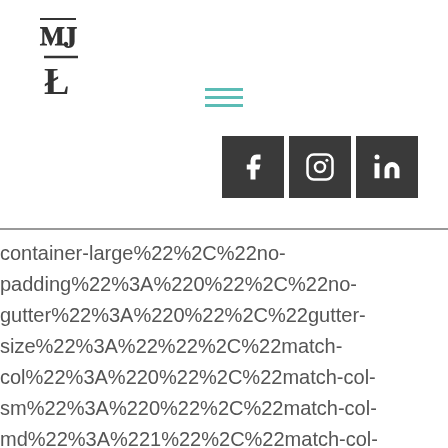[Figure (logo): TM or JM stylized logo mark with horizontal bar on top]
[Figure (infographic): Hamburger menu icon with three teal horizontal lines]
[Figure (infographic): Three dark square social media icons: Facebook (f), Instagram (camera), LinkedIn (in)]
container-large%22%2C%22no-padding%22%3A%220%22%2C%22no-gutter%22%3A%220%22%2C%22gutter-size%22%3A%22%22%2C%22match-col%22%3A%220%22%2C%22match-col-sm%22%3A%220%22%2C%22match-col-md%22%3A%221%22%2C%22match-col-lg%22%3A%22inherit%22%2C%22show-divider%22%3A%220%22%2C%22divider%22%3A%7B%22divi width%22%3A%221%22%2C%22divider-height%22%3A%22100%25%22%2C%22divider-h-alignment%22%3A%22left%22%2C%22divider-v-alignment%22%3A%22center%22%2C%22divider